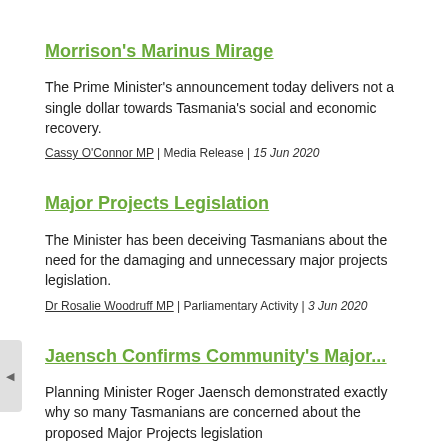Morrison's Marinus Mirage
The Prime Minister's announcement today delivers not a single dollar towards Tasmania's social and economic recovery.
Cassy O'Connor MP | Media Release | 15 Jun 2020
Major Projects Legislation
The Minister has been deceiving Tasmanians about the need for the damaging and unnecessary major projects legislation.
Dr Rosalie Woodruff MP | Parliamentary Activity | 3 Jun 2020
Jaensch Confirms Community's Major...
Planning Minister Roger Jaensch demonstrated exactly why so many Tasmanians are concerned about the proposed Major Projects legislation